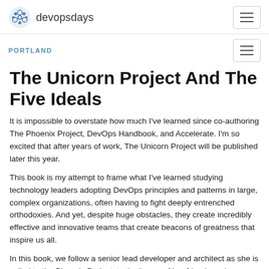devopsdays
PORTLAND
The Unicorn Project And The Five Ideals
It is impossible to overstate how much I've learned since co-authoring The Phoenix Project, DevOps Handbook, and Accelerate. I'm so excited that after years of work, The Unicorn Project will be published later this year.
This book is my attempt to frame what I've learned studying technology leaders adopting DevOps principles and patterns in large, complex organizations, often having to fight deeply entrenched orthodoxies. And yet, despite huge obstacles, they create incredibly effective and innovative teams that create beacons of greatness that inspire us all.
In this book, we follow a senior lead developer and architect as she is exiled to the Phoenix Project, to the horror of her friends and